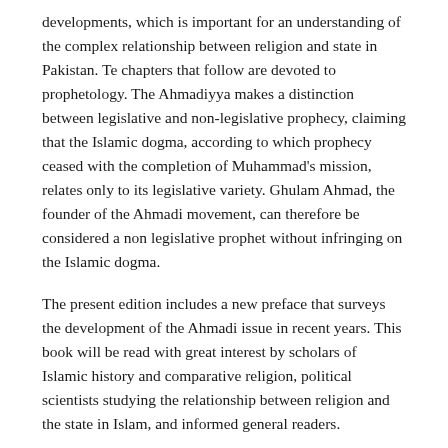developments, which is important for an understanding of the complex relationship between religion and state in Pakistan. Te chapters that follow are devoted to prophetology. The Ahmadiyya makes a distinction between legislative and non-legislative prophecy, claiming that the Islamic dogma, according to which prophecy ceased with the completion of Muhammad's mission, relates only to its legislative variety. Ghulam Ahmad, the founder of the Ahmadi movement, can therefore be considered a non legislative prophet without infringing on the Islamic dogma.
The present edition includes a new preface that surveys the development of the Ahmadi issue in recent years. This book will be read with great interest by scholars of Islamic history and comparative religion, political scientists studying the relationship between religion and the state in Islam, and informed general readers.
EXTRACTS FROM REVIEWS
Yohanan Friedmann's careful study, constitutes a quantum leap